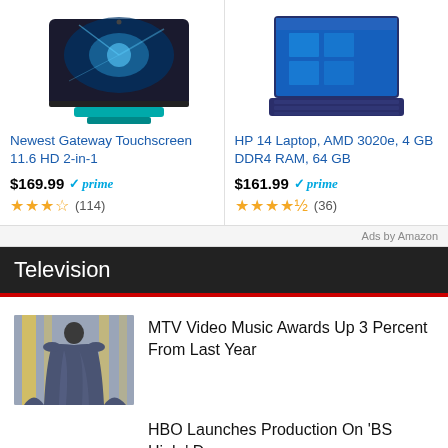[Figure (screenshot): Amazon ad card for Newest Gateway Touchscreen 11.6 HD 2-in-1 laptop/tablet with teal body and starfield wallpaper]
Newest Gateway Touchscreen 11.6 HD 2-in-1
$169.99 prime ★★★☆ (114)
[Figure (screenshot): Amazon ad card for HP 14 Laptop, AMD 3020e, 4 GB DDR4 RAM, 64 GB in navy blue]
HP 14 Laptop, AMD 3020e, 4 GB DDR4 RAM, 64 GB
$161.99 prime ★★★★½ (36)
Ads by Amazon
Television
[Figure (photo): Person in a large blue/grey gown at MTV event]
MTV Video Music Awards Up 3 Percent From Last Year
HBO Launches Production On 'BS High,' Doc